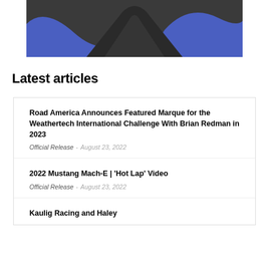[Figure (illustration): Abstract dark and blue graphic design — dark charcoal background with blue curved shapes resembling mountain peaks or a swooping logo mark]
Latest articles
Road America Announces Featured Marque for the Weathertech International Challenge With Brian Redman in 2023
Official Release  -  August 23, 2022
2022 Mustang Mach-E | 'Hot Lap' Video
Official Release  -  August 23, 2022
Kaulig Racing and Haley